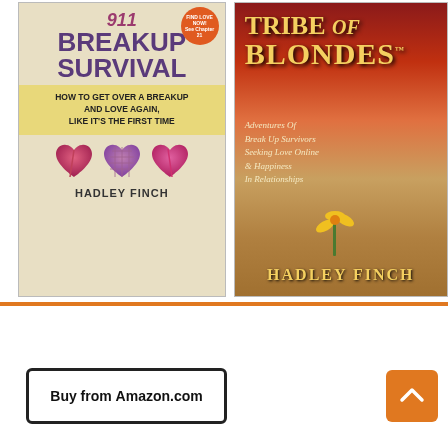[Figure (photo): Book cover of '911 Breakup Survival' by Hadley Finch. Subtitle: How to Get Over a Breakup and Love Again, Like It's the First Time. Features three broken heart illustrations and a yellow subtitle banner.]
[Figure (photo): Book cover of 'Tribe of Blondes' by Hadley Finch. Subtitle: Adventures Of Break Up Survivors Seeking Love Online & Happiness In Relationships. Desert landscape with sunset sky and a yellow flower.]
[Figure (other): Buy from Amazon.com button and a scroll-to-top orange button with upward arrow. Partial image of a person visible at bottom.]